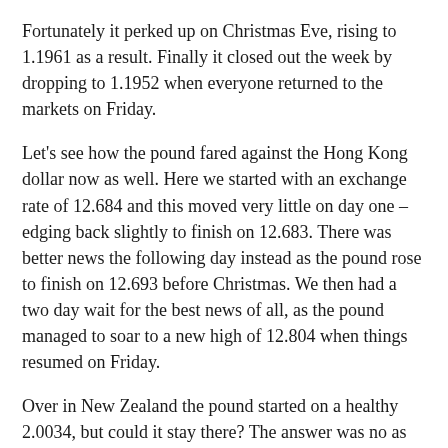Fortunately it perked up on Christmas Eve, rising to 1.1961 as a result. Finally it closed out the week by dropping to 1.1952 when everyone returned to the markets on Friday.
Let's see how the pound fared against the Hong Kong dollar now as well. Here we started with an exchange rate of 12.684 and this moved very little on day one – edging back slightly to finish on 12.683. There was better news the following day instead as the pound rose to finish on 12.693 before Christmas. We then had a two day wait for the best news of all, as the pound managed to soar to a new high of 12.804 when things resumed on Friday.
Over in New Zealand the pound started on a healthy 2.0034, but could it stay there? The answer was no as the pound fell to 1.9931 on Monday before pushing back to claim a closing rate of 1.9993 on Tuesday evening. Fortunately we did have a nice surprise on Friday as we returned after the festive break. This marked the pound managing to rise to 2.0191 against the New Zealand dollar.